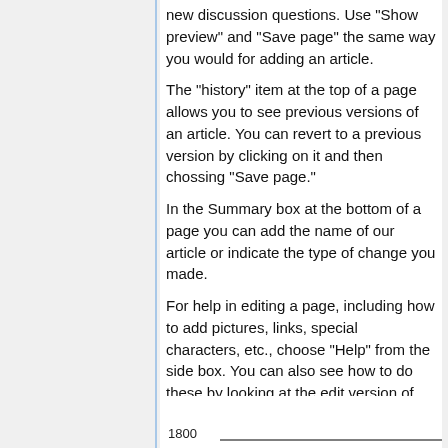new discussion questions. Use "Show preview" and "Save page" the same way you would for adding an article.
The "history" item at the top of a page allows you to see previous versions of an article. You can revert to a previous version by clicking on it and then chossing "Save page."
In the Summary box at the bottom of a page you can add the name of our article or indicate the type of change you made.
For help in editing a page, including how to add pictures, links, special characters, etc., choose "Help" from the side box. You can also see how to do these by looking at the edit version of previous articles. For example you will see that a format for adding a centered image is
[Figure (other): Partial view of a chart with y-axis label '1800' at the bottom of the page]